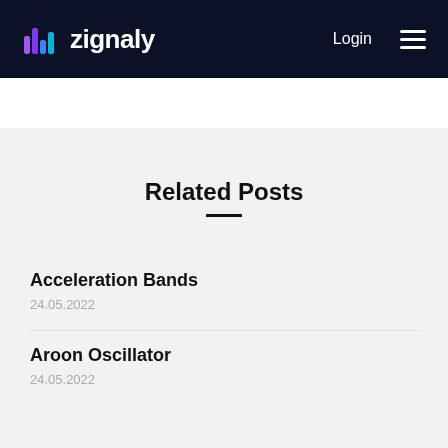zignaly — Login
Related Posts
Acceleration Bands
24.05.2022
Aroon Oscillator
24.05.2022